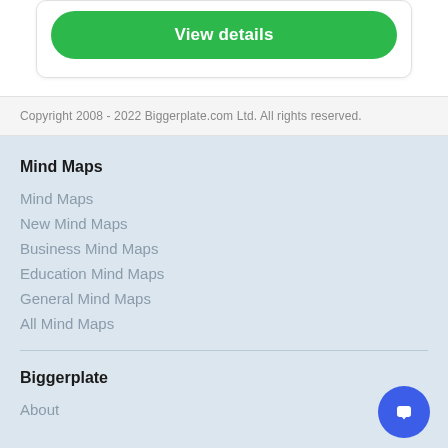[Figure (screenshot): Green 'View details' button inside a white card with rounded corners and border]
Copyright 2008 - 2022 Biggerplate.com Ltd. All rights reserved.
Mind Maps
Mind Maps
New Mind Maps
Business Mind Maps
Education Mind Maps
General Mind Maps
All Mind Maps
Biggerplate
About